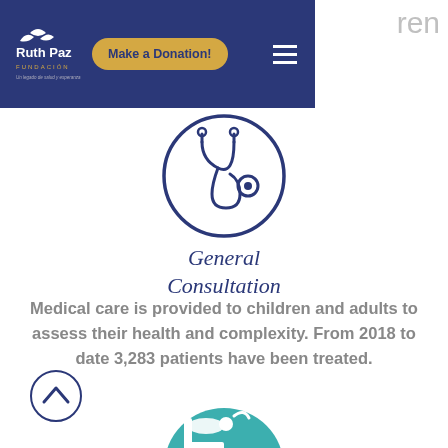Ruth Paz Fundacion — Make a Donation!
[Figure (illustration): Stethoscope icon inside a circle, navy blue outline style]
General Consultation
Medical care is provided to children and adults to assess their health and complexity. From 2018 to date 3,283 patients have been treated.
[Figure (illustration): Dental/patient reclining in chair icon inside a teal circle, partially visible at bottom]